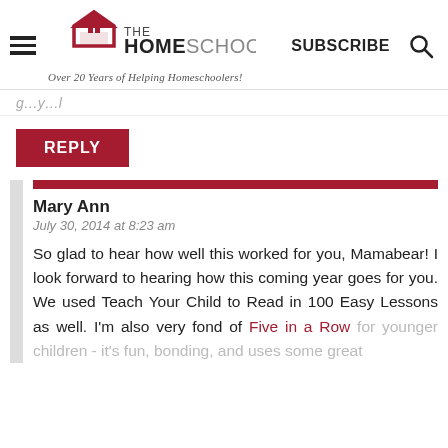THE HOMESCHOOL MOM — Over 20 Years of Helping Homeschoolers! | SUBSCRIBE
[partial truncated text at top]
REPLY
Mary Ann
July 30, 2014 at 8:23 am

So glad to hear how well this worked for you, Mamabear! I look forward to hearing how this coming year goes for you. We used Teach Your Child to Read in 100 Easy Lessons as well. I'm also very fond of Five in a Row for younger children - it's fun, bonding, and uses some great